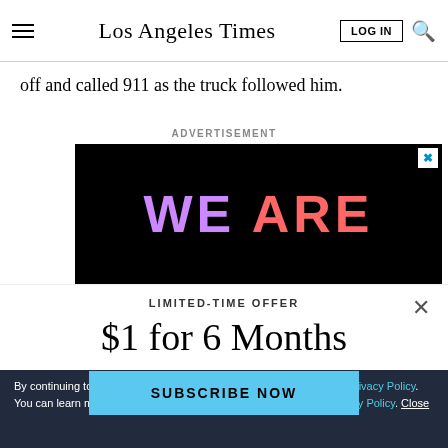Los Angeles Times
off and called 911 as the truck followed him.
ADVERTISEMENT
[Figure (other): Advertisement banner with black background showing text 'WE ARE' in large purple and red/orange letters]
LIMITED-TIME OFFER
$1 for 6 Months
SUBSCRIBE NOW
By continuing to use our site, you agree to our Terms of Service and Privacy Policy. You can learn more about how we use cookies by reviewing our Privacy Policy. Close